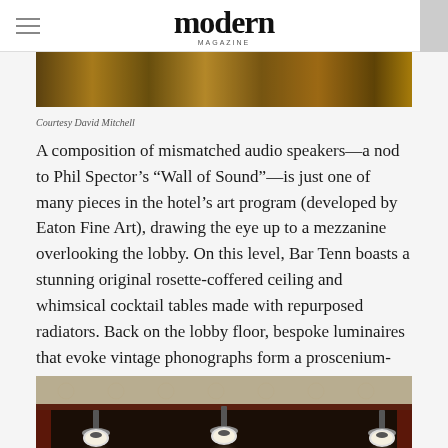modern magazine
[Figure (photo): Close-up photo of decorative geometric pattern in warm brown and gold tones, appears to be a ceiling or textile detail]
Courtesy David Mitchell
A composition of mismatched audio speakers—a nod to Phil Spector’s “Wall of Sound”—is just one of many pieces in the hotel’s art program (developed by Eaton Fine Art), drawing the eye up to a mezzanine overlooking the lobby. On this level, Bar Tenn boasts a stunning original rosette-coffered ceiling and whimsical cocktail tables made with repurposed radiators. Back on the lobby floor, bespoke luminaires that evoke vintage phonographs form a proscenium-like arch that leads to the informal check-in desks. The leather wall panels behind check-in, meanwhile, very quietly reference cowboy boots.
[Figure (photo): Interior photo of Bar Tenn showing ornate rosette-coffered ceiling with hanging pendant lights and dark wood details, warm lighting]